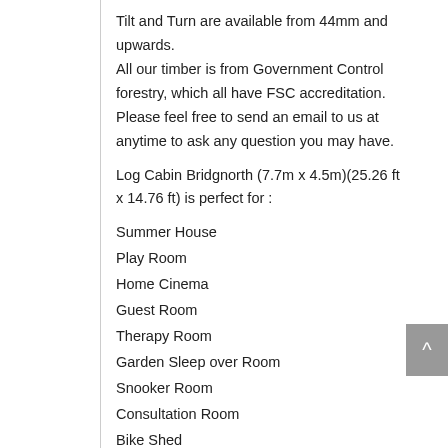Tilt and Turn are available from 44mm and upwards.
All our timber is from Government Control forestry, which all have FSC accreditation.
Please feel free to send an email to us at anytime to ask any question you may have.
Log Cabin Bridgnorth (7.7m x 4.5m)(25.26 ft x 14.76 ft) is perfect for :
Summer House
Play Room
Home Cinema
Guest Room
Therapy Room
Garden Sleep over Room
Snooker Room
Consultation Room
Bike Shed
Garden Hideaway